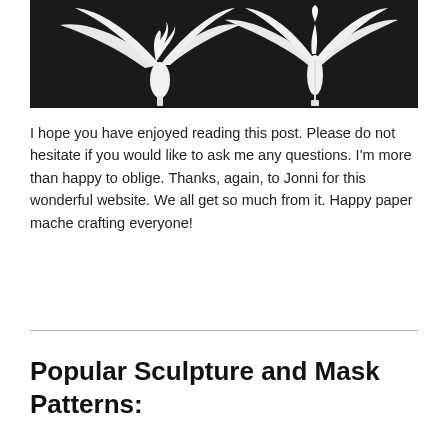[Figure (photo): Two white paper mache sculptures of winged figures (phoenix/bird-like creatures) on a black background. The sculptures are detailed with feathered wings spread wide.]
I hope you have enjoyed reading this post. Please do not hesitate if you would like to ask me any questions. I'm more than happy to oblige. Thanks, again, to Jonni for this wonderful website. We all get so much from it. Happy paper mache crafting everyone!
Popular Sculpture and Mask Patterns: